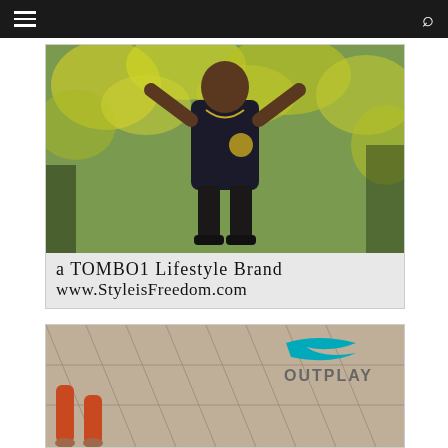Navigation bar with hamburger menu and search icon
[Figure (photo): A person posing outdoors in a black t-shirt with a gold emblem, arms raised, in front of green/yellow foliage background. Text overlay reads: 'a TOMBO1 Lifestyle Brand www.StyleisFreedom.com']
[Figure (photo): Partial photo of a person lying on a tiled floor wearing red shorts, with the OUTPLAY brand logo in teal/blue and gray text in the upper right corner]